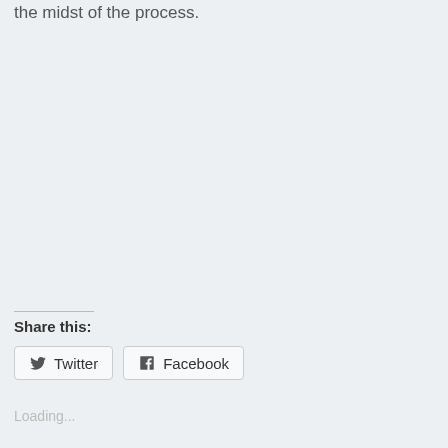the midst of the process.
Share this:
Twitter
Facebook
Loading...